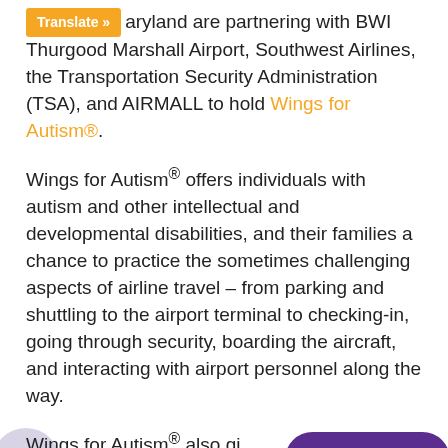Translate » ...aryland are partnering with BWI Thurgood Marshall Airport, Southwest Airlines, the Transportation Security Administration (TSA), and AIRMALL to hold Wings for Autism®.
Wings for Autism® offers individuals with autism and other intellectual and developmental disabilities, and their families a chance to practice the sometimes challenging aspects of airline travel – from parking and shuttling to the airport terminal to checking-in, going through security, boarding the aircraft, and interacting with airport personnel along the way.
Wings for Autism® also gi... professionals, and other... opportunity to observe, interact, and deliver their...